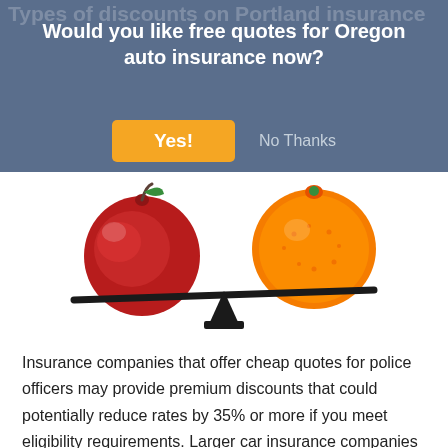Types of discounts on Portland insurance
Would you like free quotes for Oregon auto insurance now?
[Figure (illustration): A red apple and an orange sitting on opposite ends of a balance/scale beam, with the beam tilted slightly, on a white background — representing comparison of insurance options.]
Insurance companies that offer cheap quotes for police officers may provide premium discounts that could potentially reduce rates by 35% or more if you meet eligibility requirements. Larger car insurance companies